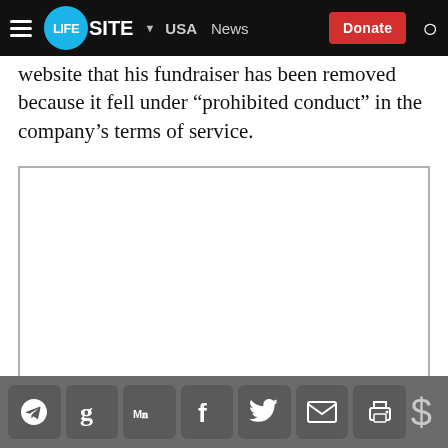LIFESITE | USA | News | Donate
website that his fundraiser has been removed because it fell under “prohibited conduct” in the company’s terms of service.
[Figure (other): Blank white image placeholder box with grey border]
Social share icons: Telegram, Goodreads, MeWe, Facebook, Twitter, Email, Print | Donate ($)